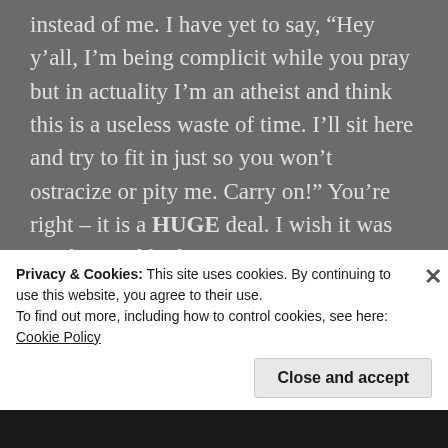instead of me. I have yet to say, “Hey y’all, I’m being complicit while you pray but in actuality I’m an atheist and think this is a useless waste of time. I’ll sit here and try to fit in just so you won’t ostracize or pity me. Carry on!” You’re right – it is a HUGE deal. I wish it was just live and let live. But not praying.... damn, that is harsh. Even stone cold sinners pray when your husband is in the hospital or your dog gets hit by a car or some plane crashes somewhere. To admit you don’t... well that would make you a
Privacy & Cookies: This site uses cookies. By continuing to use this website, you agree to their use.
To find out more, including how to control cookies, see here: Cookie Policy
Close and accept